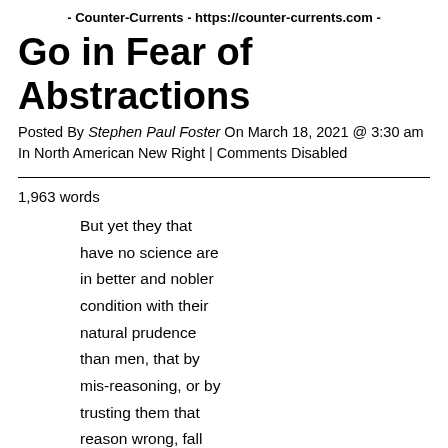- Counter-Currents - https://counter-currents.com -
Go in Fear of Abstractions
Posted By Stephen Paul Foster On March 18, 2021 @ 3:30 am In North American New Right | Comments Disabled
1,963 words
But yet they that have no science are in better and nobler condition with their natural prudence than men, that by mis-reasoning, or by trusting them that reason wrong, fall upon false and